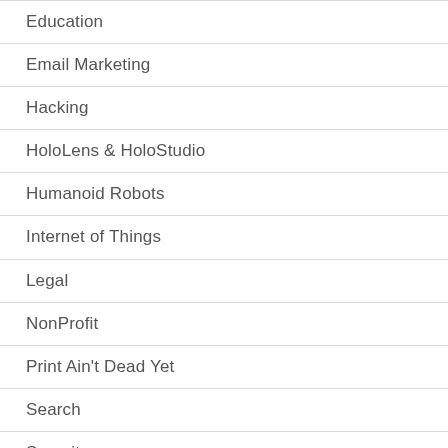Education
Email Marketing
Hacking
HoloLens & HoloStudio
Humanoid Robots
Internet of Things
Legal
NonProfit
Print Ain't Dead Yet
Search
Security
SEO